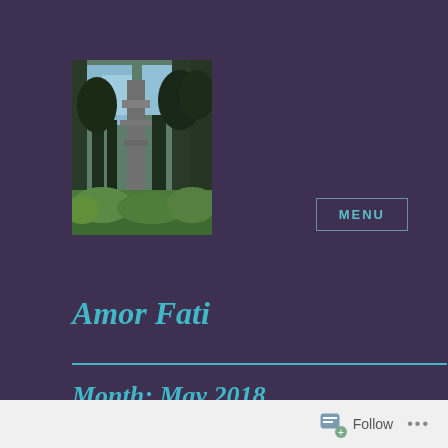[Figure (photo): Outdoor photo of a tall structure (possibly a tower or sculpture) surrounded by tall trees against a blue sky, with green foliage at the bottom.]
Amor Fati
Month: May 2018
Natural Selection
Follow ...